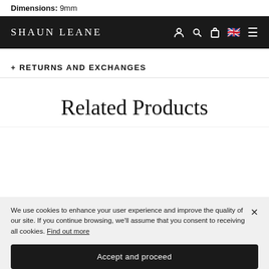Dimensions: 9mm
SHAUN LEANE
+ RETURNS AND EXCHANGES
Related Products
We use cookies to enhance your user experience and improve the quality of our site. If you continue browsing, we'll assume that you consent to receiving all cookies. Find out more
Accept and proceed